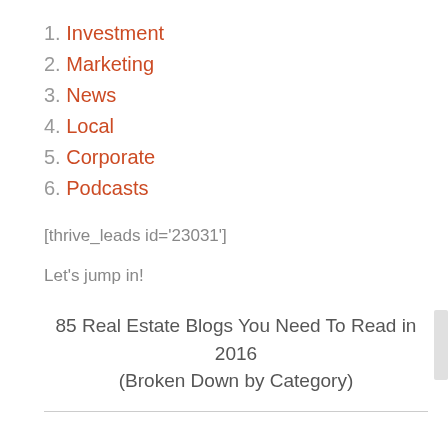1. Investment
2. Marketing
3. News
4. Local
5. Corporate
6. Podcasts
[thrive_leads id='23031']
Let's jump in!
85 Real Estate Blogs You Need To Read in 2016 (Broken Down by Category)